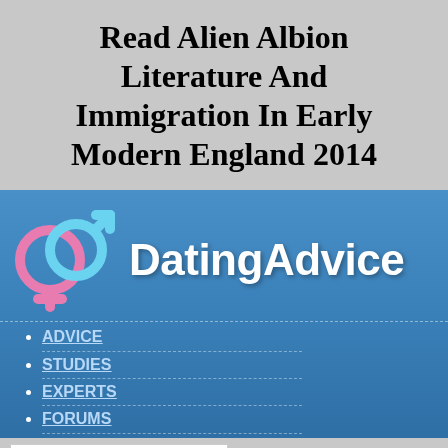Read Alien Albion Literature And Immigration In Early Modern England 2014
[Figure (logo): DatingAdvice.com website banner with gender symbols logo (interlocked male/female symbols in pink and blue) on a blue gradient background, with the text 'DatingAdvice' in white bold font]
ADVICE
STUDIES
EXPERTS
FORUMS
REVIEWS
search our advice